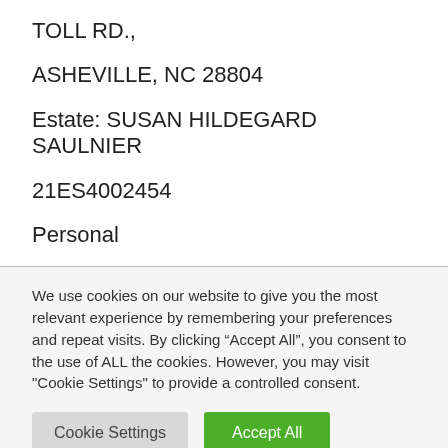TOLL RD.,
ASHEVILLE, NC 28804
Estate: SUSAN HILDEGARD SAULNIER
21ES4002454
Personal
We use cookies on our website to give you the most relevant experience by remembering your preferences and repeat visits. By clicking “Accept All”, you consent to the use of ALL the cookies. However, you may visit "Cookie Settings" to provide a controlled consent.